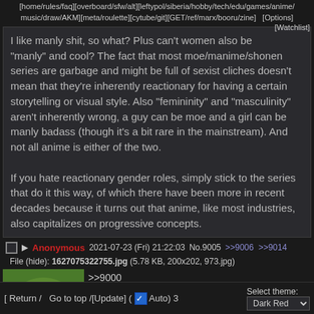[home/rules/faq][overboard/sfw/alt][leftypol/siberia/hobby/tech/edu/games/anime/music/draw/AKM][meta/roulette][cytube/git][GET/ref/marx/booru/zine]  [Options] [Watchlist]
I like manly shit, so what? Plus can't women also be "manly" and cool? The fact that most moe/manime/shonen series are garbage and might be full of sexist cliches doesn't mean that they're inherently reactionary for having a certain storytelling or visual style. Also "femininity" and "masculinity" aren't inherently wrong, a guy can be moe and a girl can be manly badass (though it's a bit rare in the mainstream). And not all anime is either of the two.

If you hate reactionary gender roles, simply stick to the series that do it this way, of which there have been more in recent decades because it turns out that anime, like most industries, also capitalizes on progressive concepts.
Anonymous 2021-07-23 (Fri) 21:22:03 No.9005 >>9006 >>9014
File (hide): 1627075322755.jpg (5.78 KB, 200x202, 973.jpg)
[Figure (photo): Close-up of a green Pepe the Frog face with white eyes]
>>9000
>The fact that most moe/manime/shonen series are garbage
[ Return /   Go to top /[Update] ( ☑ Auto) 3    Select theme: Dark Red